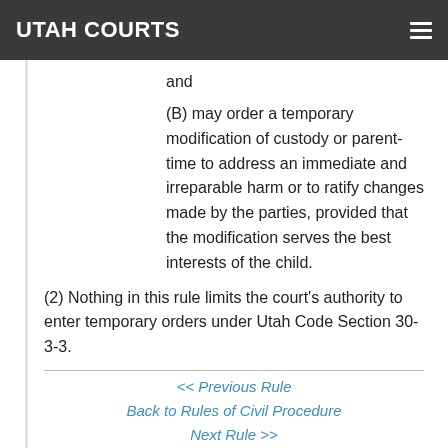UTAH COURTS
and
(B) may order a temporary modification of custody or parent-time to address an immediate and irreparable harm or to ratify changes made by the parties, provided that the modification serves the best interests of the child.
(2) Nothing in this rule limits the court’s authority to enter temporary orders under Utah Code Section 30-3-3.
<< Previous Rule
Back to Rules of Civil Procedure
Next Rule >>